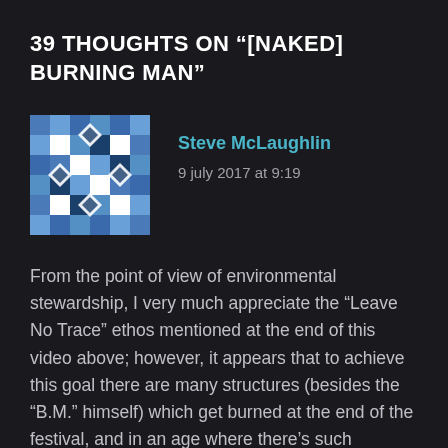39 THOUGHTS ON “[NAKED] BURNING MAN”
[Figure (illustration): Pixel art avatar for Steve McLaughlin — blue and white geometric diamond pattern on dark background]
Steve McLaughlin
9 july 2017 at 9:19
From the point of view of environmental stewardship, I very much appreciate the “Leave No Trace” ethos mentioned at the end of this video above; however, it appears that to achieve this goal there are many structures (besides the “B.M.” himself) which get burned at the end of the festival, and in an age where there’s such concern about how mankind is affecting the